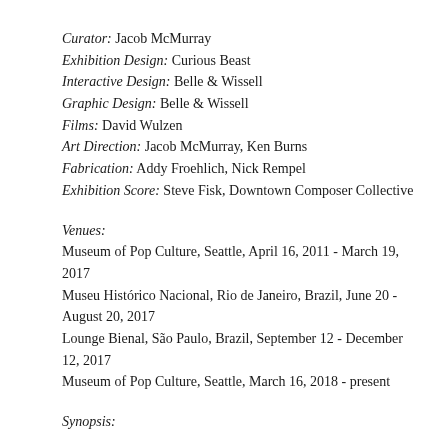Curator: Jacob McMurray
Exhibition Design: Curious Beast
Interactive Design: Belle & Wissell
Graphic Design: Belle & Wissell
Films: David Wulzen
Art Direction: Jacob McMurray, Ken Burns
Fabrication: Addy Froehlich, Nick Rempel
Exhibition Score: Steve Fisk, Downtown Composer Collective
Venues:
Museum of Pop Culture, Seattle, April 16, 2011 - March 19, 2017
Museu Histórico Nacional, Rio de Janeiro, Brazil, June 20 - August 20, 2017
Lounge Bienal, São Paulo, Brazil, September 12 - December 12, 2017
Museum of Pop Culture, Seattle, March 16, 2018 - present
Synopsis: